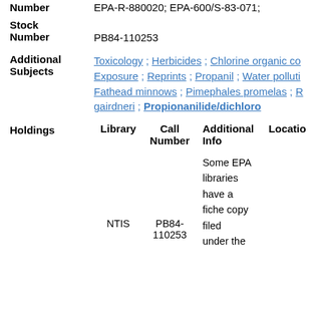EPA-R-880020; EPA-600/S-83-071;
Stock Number: PB84-110253
Additional Subjects: Toxicology ; Herbicides ; Chlorine organic co... ; Exposure ; Reprints ; Propanil ; Water polluti... ; Fathead minnows ; Pimephales promelas ; R... gairdneri ; Propionanilide/dichloro
| Library | Call Number | Additional Info | Location |
| --- | --- | --- | --- |
| NTIS | PB84-110253 | Some EPA libraries have a fiche copy filed under the |  |